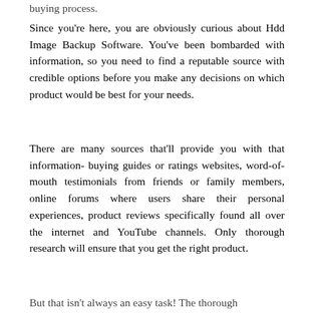buying process.
Since you're here, you are obviously curious about Hdd Image Backup Software. You've been bombarded with information, so you need to find a reputable source with credible options before you make any decisions on which product would be best for your needs.
There are many sources that'll provide you with that information- buying guides or ratings websites, word-of-mouth testimonials from friends or family members, online forums where users share their personal experiences, product reviews specifically found all over the internet and YouTube channels. Only thorough research will ensure that you get the right product.
But that isn't always an easy task! The thorough